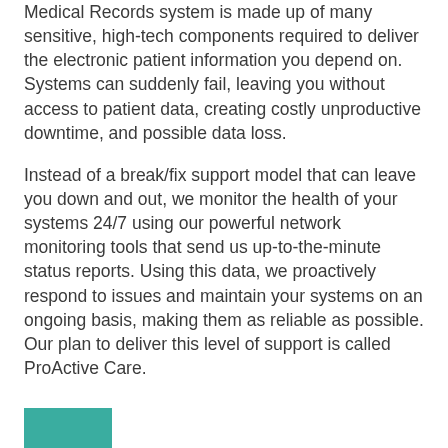Medical Records system is made up of many sensitive, high-tech components required to deliver the electronic patient information you depend on. Systems can suddenly fail, leaving you without access to patient data, creating costly unproductive downtime, and possible data loss.
Instead of a break/fix support model that can leave you down and out, we monitor the health of your systems 24/7 using our powerful network monitoring tools that send us up-to-the-minute status reports. Using this data, we proactively respond to issues and maintain your systems on an ongoing basis, making them as reliable as possible. Our plan to deliver this level of support is called ProActive Care.
[Figure (other): Teal/green rectangular decorative block element]